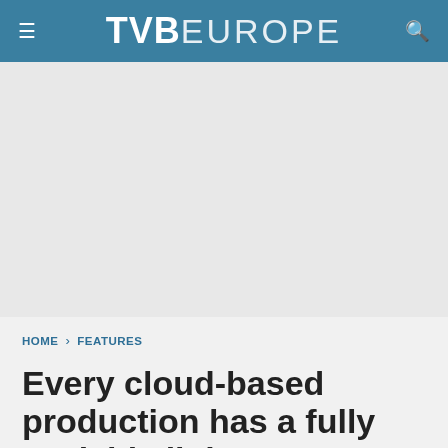TVB EUROPE
[Figure (other): Advertisement / blank area placeholder]
HOME › FEATURES
Every cloud-based production has a fully scalable lining